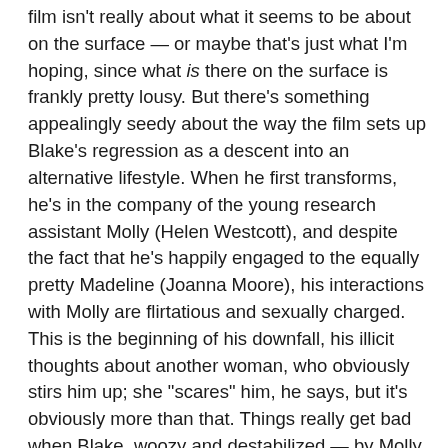film isn't really about what it seems to be about on the surface — or maybe that's just what I'm hoping, since what is there on the surface is frankly pretty lousy. But there's something appealingly seedy about the way the film sets up Blake's regression as a descent into an alternative lifestyle. When he first transforms, he's in the company of the young research assistant Molly (Helen Westcott), and despite the fact that he's happily engaged to the equally pretty Madeline (Joanna Moore), his interactions with Molly are flirtatious and sexually charged. This is the beginning of his downfall, his illicit thoughts about another woman, who obviously stirs him up; she "scares" him, he says, but it's obviously more than that. Things really get bad when Blake, woozy and destabilized — by Molly or the poisoning of the coelacanth? — has her drive him home. Hours later, he wakes up in his backyard. His house has been destroyed (and his photo of his fiancée notably torn in two), his clothes are tattered, and in a grotesque, startling image, Molly is hanging by her hair from a tree in the backyard, her eyes glazed.
So begins Blake's regression to the form of an inhuman monster, a transformation characterized not just by his ape-